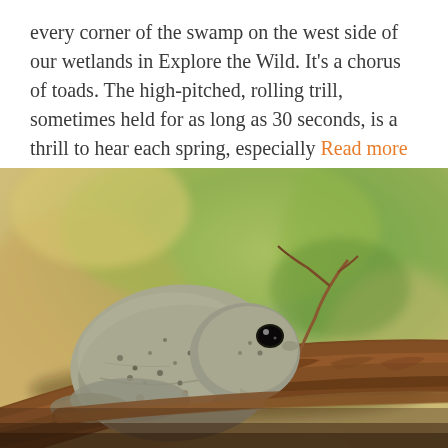every corner of the swamp on the west side of our wetlands in Explore the Wild. It's a chorus of toads. The high-pitched, rolling trill, sometimes held for as long as 30 seconds, is a thrill to hear each spring, especially Read more
[Figure (photo): Close-up photograph of a gray tree frog resting on a tree branch. The frog has rough, mottled gray-green skin with dark speckles, blending with the bark. A dried plant stem extends above its head. The background is a soft-focus blend of greens and yellows (leaves/foliage).]